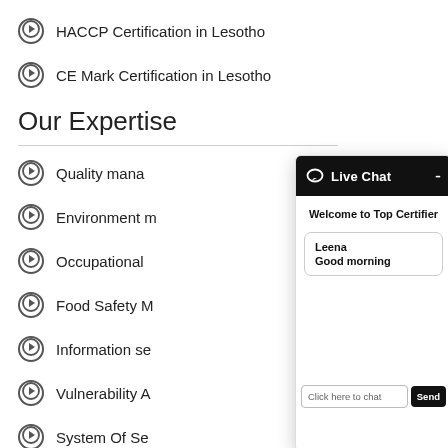HACCP Certification in Lesotho
CE Mark Certification in Lesotho
Our Expertise
Quality mana…
Environment m…
Occupational…
Food Safety M…
Information se…
Vulnerability A…
System Of Se…
Total Producti…
[Figure (screenshot): Live Chat widget overlay from Top Certifier website, with header showing chat bubble icon and 'Live Chat' text on black background with minus button, body showing 'Welcome to Top Certifier' message, a message from Leena saying 'Good morning', and an input field 'Click here to chat' with a Send button.]